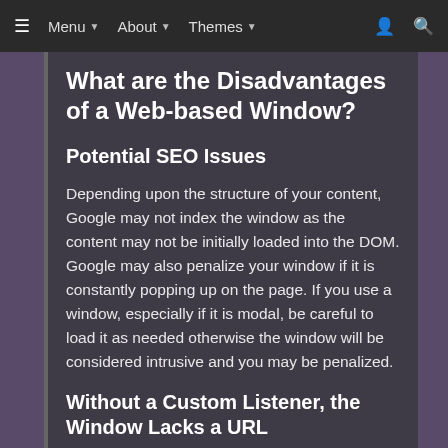≡ Menu ▾ About ▾ Themes ▾ 👤 🔍
What are the Disadvantages of a Web-based Window?
Potential SEO Issues
Depending upon the structure of your content, Google may not index the window as the content may not be initially loaded into the DOM. Google may also penalize your window if it is constantly popping up on the page. If you use a window, especially if it is modal, be careful to load it as needed otherwise the window will be considered intrusive and you may be penalized.
Without a Custom Listener, the Window Lacks a URL
A URL is useful for SEO purposes and allows the users to open the content using a memorizable